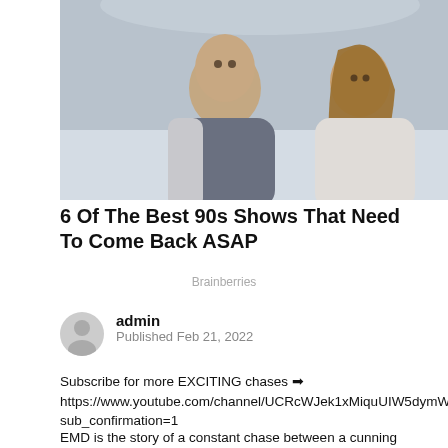[Figure (photo): Two people (a man and a woman) in a bedroom setting, looking surprised or concerned. The man wears a gray t-shirt and the woman has long brown hair.]
6 Of The Best 90s Shows That Need To Come Back ASAP
Brainberries
admin
Published Feb 21, 2022
Subscribe for more EXCITING chases ➡ https://www.youtube.com/channel/UCRcWJek1xMiquUIW5dymWvg?sub_confirmation=1
EMD is the story of a constant chase between a cunning hungry fox